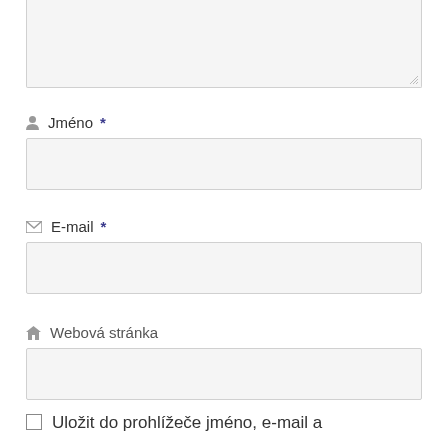[Figure (screenshot): Textarea input field (top, partially visible, with resize handle at bottom-right corner)]
Jméno *
[Figure (screenshot): Text input field for Jméno (Name)]
E-mail *
[Figure (screenshot): Text input field for E-mail]
Webová stránka
[Figure (screenshot): Text input field for Webová stránka (Website)]
Uložit do prohlížeče jméno, e-mail a